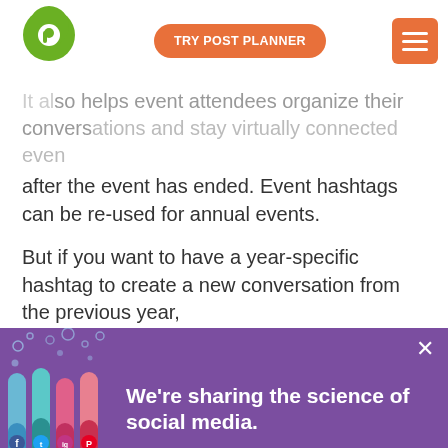[Figure (logo): Post Planner green location pin logo with 'p' icon]
TRY POST PLANNER
[Figure (other): Orange hamburger menu button]
It also helps event attendees organize their conversations and stay virtually connected even after the event has ended. Event hashtags can be re-used for annual events.
But if you want to have a year-specific hashtag to create a new conversation from the previous year,
[Figure (illustration): Purple banner with test tubes illustration showing social media icons (Facebook, Twitter, Instagram, Pinterest) and text 'We're sharing the science of social media.']
We're sharing the science of social media.
We use cookies to give you the best experience possible. By continuing, we'll assume you're cool with our cookie policy.
Accept